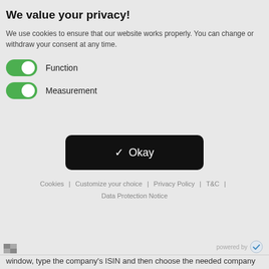We value your privacy!
We use cookies to ensure that our website works properly. You can change or withdraw your consent at any time.
Function (toggle on)
Measurement (toggle on)
[Figure (screenshot): Black rounded button with white checkmark and text 'Okay']
Cookies  |  Customize your choice  |  Privacy Policy  |  T&C  |  Data Protection Notice
[Figure (logo): Powered by checkmark logo in bottom right]
window, type the company's ISIN and then choose the needed company